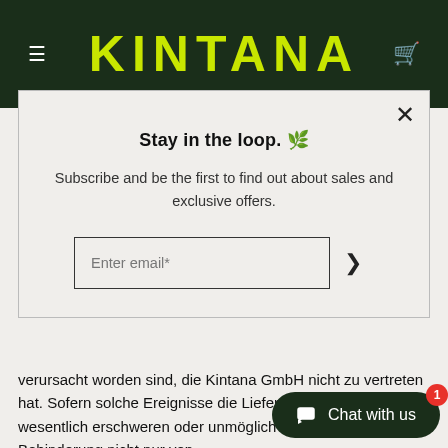KINTANA
Stay in the loop. 🌿
Subscribe and be the first to find out about sales and exclusive offers.
Enter email*
verursacht worden sind, die Kintana GmbH nicht zu vertreten hat. Sofern solche Ereignisse die Lieferung oder Leistung wesentlich erschweren oder unmöglich machen und die Behinderung nicht nur von